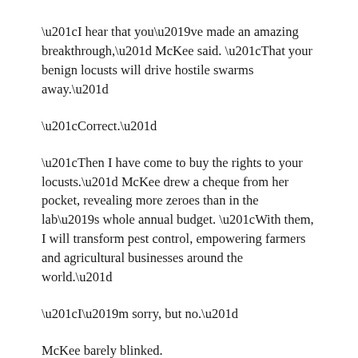“I hear that you’ve made an amazing breakthrough,” McKee said. “That your benign locusts will drive hostile swarms away.”
“Correct.”
“Then I have come to buy the rights to your locusts.” McKee drew a cheque from her pocket, revealing more zeroes than in the lab’s whole annual budget. “With them, I will transform pest control, empowering farmers and agricultural businesses around the world.”
“I’m sorry, but no.”
McKee barely blinked.
“This is just a consulting fee, professor,” she said. “Our full payment will set you up for life.”